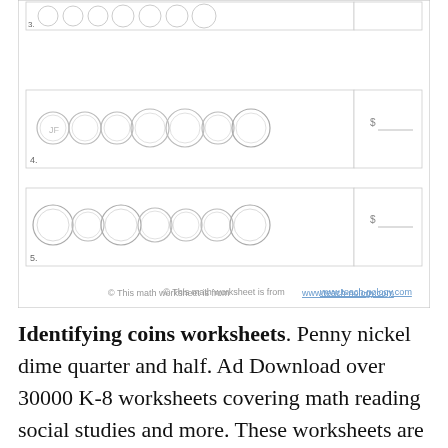[Figure (illustration): Partial view of a math worksheet showing two rows of coin images (nickels, dimes, quarters, half-dollars) with numbered rows 4 and 5, each row having a bordered answer box on the right with a dollar sign and blank line. A footer reads: © This math worksheet is from www.teach-nology.com]
Identifying coins worksheets. Penny nickel dime quarter and half. Ad Download over 30000 K-8 worksheets covering math reading social studies and more. These worksheets are pdf files.